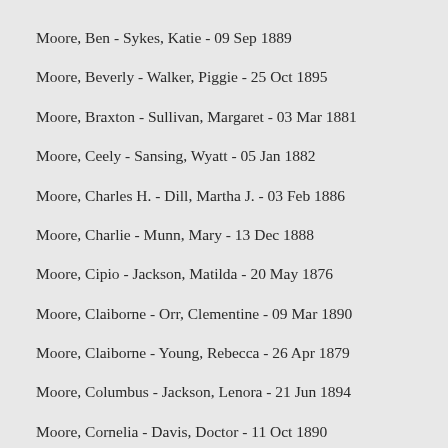Moore, Ben - Sykes, Katie - 09 Sep 1889
Moore, Beverly - Walker, Piggie - 25 Oct 1895
Moore, Braxton - Sullivan, Margaret - 03 Mar 1881
Moore, Ceely - Sansing, Wyatt - 05 Jan 1882
Moore, Charles H. - Dill, Martha J. - 03 Feb 1886
Moore, Charlie - Munn, Mary - 13 Dec 1888
Moore, Cipio - Jackson, Matilda - 20 May 1876
Moore, Claiborne - Orr, Clementine - 09 Mar 1890
Moore, Claiborne - Young, Rebecca - 26 Apr 1879
Moore, Columbus - Jackson, Lenora - 21 Jun 1894
Moore, Cornelia - Davis, Doctor - 11 Oct 1890